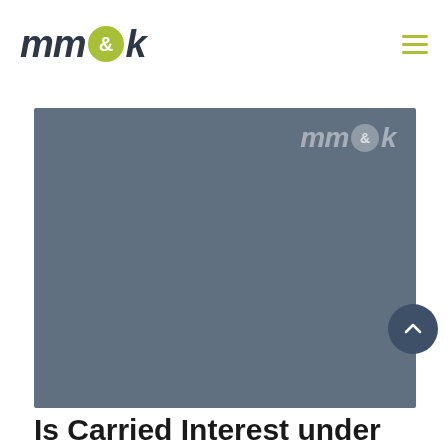mm&k
[Figure (illustration): mm&k company logo watermark on a steel-blue/slate background hero image banner]
Is Carried Interest under